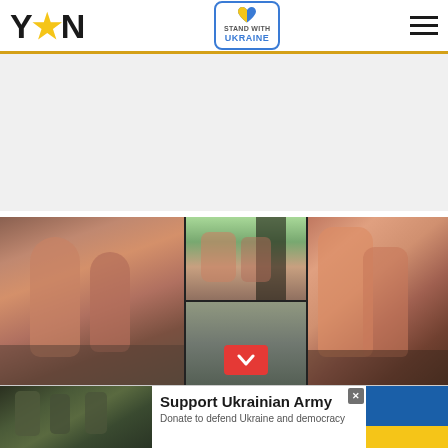YEN — Stand with Ukraine
[Figure (photo): Three-panel photo grid showing people indoors in a room, wearing pink/red clothing]
[Figure (photo): Bottom advertisement banner: Support Ukrainian Army — Donate to defend Ukraine and democracy, with soldiers image and Ukrainian flag colors]